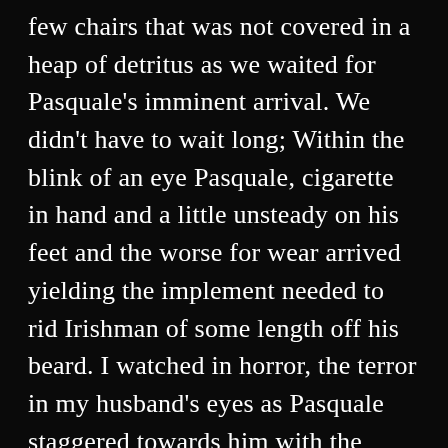few chairs that was not covered in a heap of detritus as we waited for Pasquale's imminent arrival. We didn't have to wait long; Within the blink of an eye Pasquale, cigarette in hand and a little unsteady on his feet and the worse for wear arrived yielding the implement needed to rid Irishman of some length off his beard. I watched in horror, the terror in my husband's eyes as Pasquale staggered towards him with the blade. The first lunge missed him entirely, the second was not much better but by the third attempt he was beginning to get the hang of it. Five minutes later and five pounds poorer we left Pasquales with tears streaming down our faces from laughter. Now we understood perfectly why